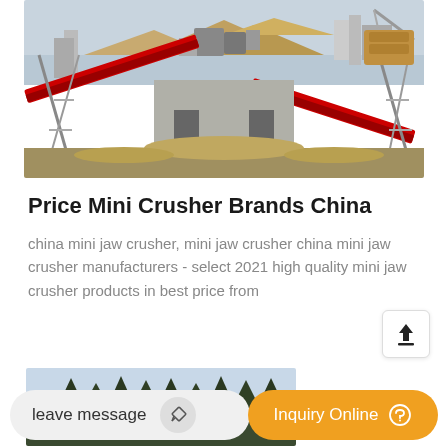[Figure (photo): Industrial quarry with conveyor belts and crushing equipment, outdoor construction/mining scene]
Price Mini Crusher Brands China
china mini jaw crusher, mini jaw crusher china mini jaw crusher manufacturers - select 2021 high quality mini jaw crusher products in best price from
[Figure (photo): Partial view of outdoor landscape with trees and mining/construction equipment]
leave message
Inquiry Online